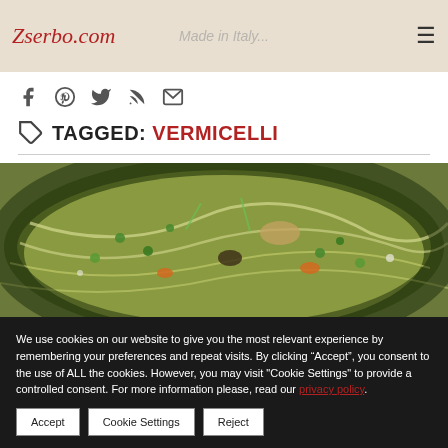Zserbo.com — Made in Italy (header navigation)
[Figure (infographic): Social media icons: Facebook, Pinterest, Twitter, RSS, Email]
TAGGED: VERMICELLI
[Figure (photo): A bowl of vermicelli soup with chicken, peas, carrots, green onions and other vegetables]
We use cookies on our website to give you the most relevant experience by remembering your preferences and repeat visits. By clicking “Accept”, you consent to the use of ALL the cookies. However, you may visit "Cookie Settings" to provide a controlled consent. For more information please, read our privacy policy.
Accept
Cookie Settings
Reject